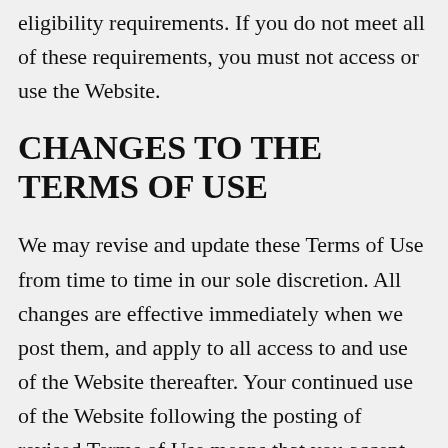eligibility requirements. If you do not meet all of these requirements, you must not access or use the Website.
CHANGES TO THE TERMS OF USE
We may revise and update these Terms of Use from time to time in our sole discretion. All changes are effective immediately when we post them, and apply to all access to and use of the Website thereafter. Your continued use of the Website following the posting of revised Terms of Use means that you accept and agree